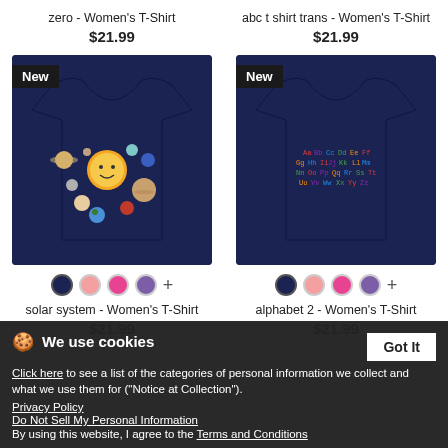zero - Women's T-Shirt
$21.99
abc t shirt trans - Women's T-Shirt
$21.99
[Figure (photo): Navy blue women's t-shirt with colorful solar system planets graphic, 'New' badge top left]
[Figure (photo): Navy blue women's t-shirt with colorful alphabet letters graphic, 'New' badge top left]
solar system - Women's T-Shirt
$21.99
alphabet 2 - Women's T-Shirt
$21.99
We use cookies
Click here to see a list of the categories of personal information we collect and what we use them for ("Notice at Collection").
Privacy Policy
Do Not Sell My Personal Information
By using this website, I agree to the Terms and Conditions
Got It